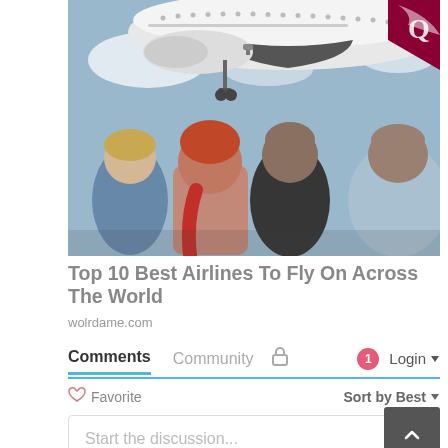[Figure (photo): People standing with backs to camera watching a Qatar Airways airplane on approach to land, nose and landing gear visible overhead against a partly cloudy sky.]
Top 10 Best Airlines To Fly On Across The World
wolrdame.com
Comments  Community  🔒  1  Login ▾
♡ Favorite    Sort by Best ▾
Start the discussion...